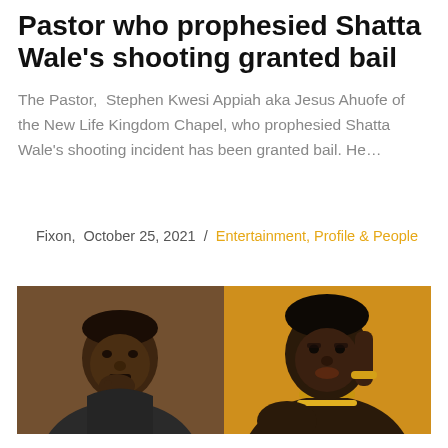Pastor who prophesied Shatta Wale's shooting granted bail
The Pastor,  Stephen Kwesi Appiah aka Jesus Ahuofe of the New Life Kingdom Chapel, who prophesied Shatta Wale's shooting incident has been granted bail. He…
Fixon,  October 25, 2021 / Entertainment, Profile & People
[Figure (photo): Split photo: left side shows a dark-skinned man in a dark hoodie with his hand raised to his chin in a thoughtful pose against a brown background; right side shows a dark-skinned woman in gold jewelry with elaborate gold necklaces and bracelets against a gold/orange background]
Samini drops #Picture ft Efya